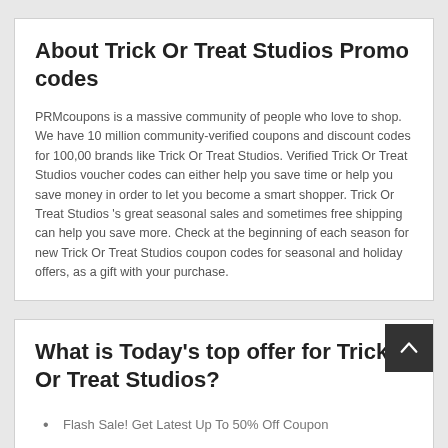About Trick Or Treat Studios Promo codes
PRMcoupons is a massive community of people who love to shop. We have 10 million community-verified coupons and discount codes for 100,00 brands like Trick Or Treat Studios. Verified Trick Or Treat Studios voucher codes can either help you save time or help you save money in order to let you become a smart shopper. Trick Or Treat Studios 's great seasonal sales and sometimes free shipping can help you save more. Check at the beginning of each season for new Trick Or Treat Studios coupon codes for seasonal and holiday offers, as a gift with your purchase.
What is Today's top offer for Trick Or Treat Studios?
Flash Sale! Get Latest Up To 50% Off Coupon
Enjoy Big Sale For Orders At Trick Or Treat Studios